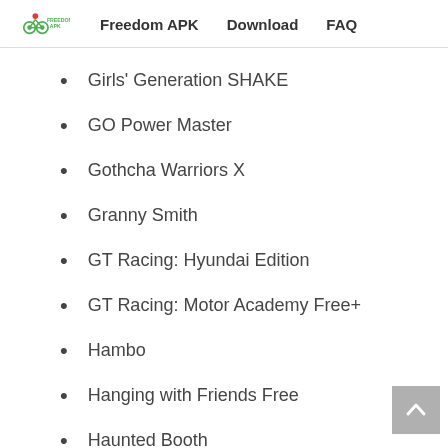Freedom APK  Download  FAQ
Girls' Generation SHAKE
GO Power Master
Gothcha Warriors X
Granny Smith
GT Racing: Hyundai Edition
GT Racing: Motor Academy Free+
Hambo
Hanging with Friends Free
Haunted Booth
Heroes of Order and Chaos
Hill Climb Racing